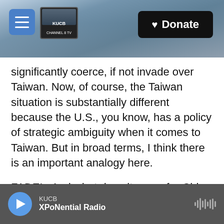KUCB Channel 8 TV | Donate
significantly coerce, if not invade over Taiwan. Now, of course, the Taiwan situation is substantially different because the U.S., you know, has a policy of strategic ambiguity when it comes to Taiwan. But in broad terms, I think there is an important analogy here.
FADEL: And what does it mean for China that Putin is opposing Taiwan's independence?
MEDEIROS: Well, that's not a new position by Putin or Russia. Russians have said this for a long time. What surprised me in the joint statement was how
KUCB | XPoNential Radio